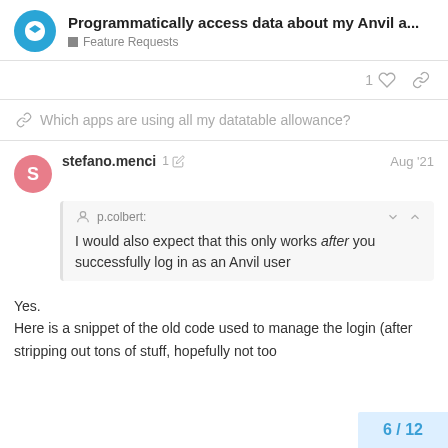Programmatically access data about my Anvil a... | Feature Requests
1 ♡ 🔗
Which apps are using all my datatable allowance?
stefano.menci  1 ✏  Aug '21
p.colbert:
I would also expect that this only works after you successfully log in as an Anvil user
Yes.
Here is a snippet of the old code used to manage the login (after stripping out tons of stuff, hopefully not too
6 / 12